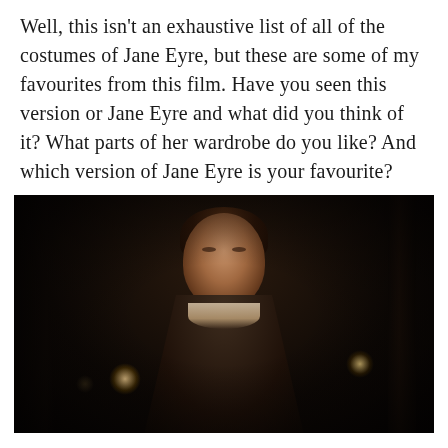Well, this isn't an exhaustive list of all of the costumes of Jane Eyre, but these are some of my favourites from this film. Have you seen this version or Jane Eyre and what did you think of it? What parts of her wardrobe do you like? And which version of Jane Eyre is your favourite?
[Figure (photo): A dimly lit cinematic still from the film Jane Eyre, showing a young woman with pale skin and auburn hair pulled back, wearing a dark period dress with a light-colored neckline/collar, standing in a dark room with soft candle-like light sources visible in the background.]